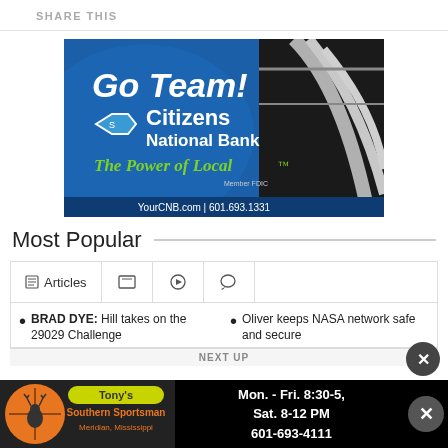SHARE THIS
[Figure (illustration): Citizens National Bank advertisement: 'Go Team!' with football helmet on right, Citizens National Bank logo and hexagon icon, 'The Power of Local™' tagline in green italic, 'Member FDIC', 'YourCNB.com | 601.693.1331']
Most Popular
Articles (tab active), image icon tab, video/play icon tab, comments icon tab
BRAD DYE: Hill takes on the 29029 Challenge
Oliver keeps NASA network safe and secure
NEXT UP
[Figure (illustration): Tony's Southern Sportsman advertisement: orange circular logo with deer silhouette and crosshair, 'Tony's Southern Sportsman' in yellow on black, 'Meridian, Mississippi'. Right side text: 'Mon. - Fri. 8:30-5, Sat. 8-12 PM, 601-693-4111']